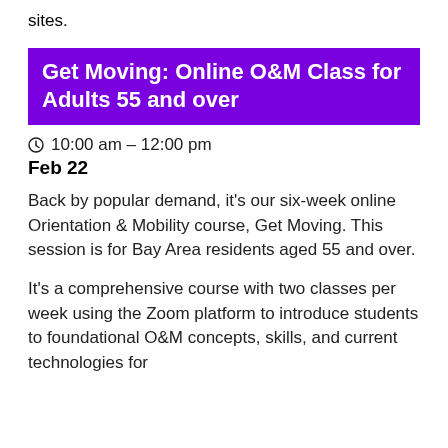sites.
Get Moving: Online O&M Class for Adults 55 and over
⊙ 10:00 am – 12:00 pm
Feb 22
Back by popular demand, it's our six-week online Orientation & Mobility course, Get Moving. This session is for Bay Area residents aged 55 and over.
It's a comprehensive course with two classes per week using the Zoom platform to introduce students to foundational O&M concepts, skills, and current technologies for